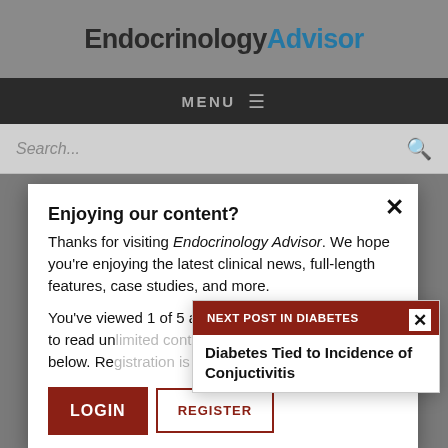EndocrinologyAdvisor
MENU
Search...
Enjoying our content?
Thanks for visiting Endocrinology Advisor. We hope you're enjoying the latest clinical news, full-length features, case studies, and more.
You've viewed 1 of 5 articles this month. If you wish to read unlimited content, please login or register below. Registration is free!
LOGIN
REGISTER
NEXT POST IN DIABETES
Diabetes Tied to Incidence of Conjuctivitis